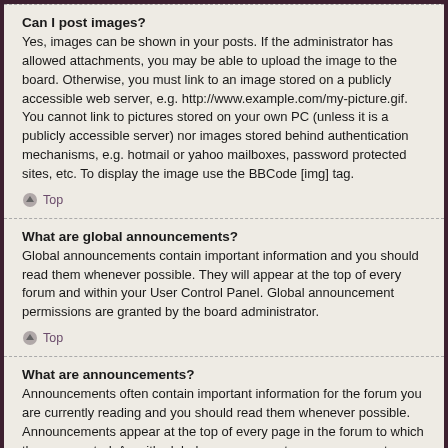Can I post images?
Yes, images can be shown in your posts. If the administrator has allowed attachments, you may be able to upload the image to the board. Otherwise, you must link to an image stored on a publicly accessible web server, e.g. http://www.example.com/my-picture.gif. You cannot link to pictures stored on your own PC (unless it is a publicly accessible server) nor images stored behind authentication mechanisms, e.g. hotmail or yahoo mailboxes, password protected sites, etc. To display the image use the BBCode [img] tag.
Top
What are global announcements?
Global announcements contain important information and you should read them whenever possible. They will appear at the top of every forum and within your User Control Panel. Global announcement permissions are granted by the board administrator.
Top
What are announcements?
Announcements often contain important information for the forum you are currently reading and you should read them whenever possible. Announcements appear at the top of every page in the forum to which they are posted. As with global announcements, announcement permissions are